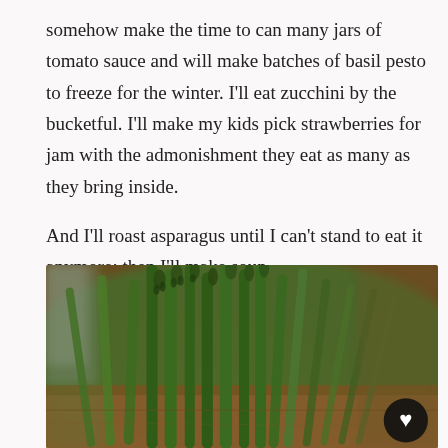somehow make the time to can many jars of tomato sauce and will make batches of basil pesto to freeze for the winter. I'll eat zucchini by the bucketful. I'll make my kids pick strawberries for jam with the admonishment they eat as many as they bring inside.

And I'll roast asparagus until I can't stand to eat it anymore; then I'll make soup.
[Figure (photo): Close-up photograph of fresh asparagus spears with tips in focus, lying on a wooden surface. A heart/like button icon appears in the bottom-right corner of the image.]